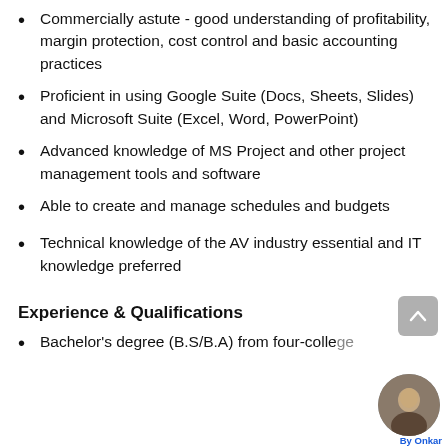Commercially astute - good understanding of profitability, margin protection, cost control and basic accounting practices
Proficient in using Google Suite (Docs, Sheets, Slides) and Microsoft Suite (Excel, Word, PowerPoint)
Advanced knowledge of MS Project and other project management tools and software
Able to create and manage schedules and budgets
Technical knowledge of the AV industry essential and IT knowledge preferred
Experience & Qualifications
Bachelor's degree (B.S/B.A) from four-college